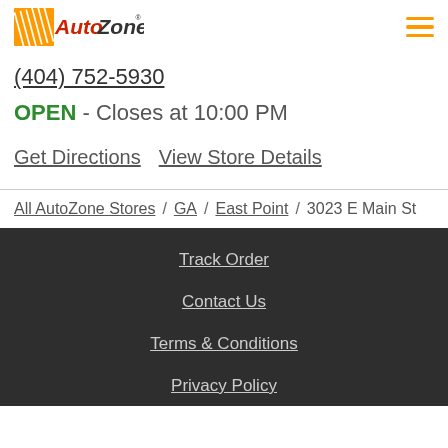AutoZone logo and navigation menu
(404) 752-5930
OPEN - Closes at 10:00 PM
Get Directions   View Store Details
All AutoZone Stores / GA / East Point / 3023 E Main St
Track Order
Contact Us
Terms & Conditions
Privacy Policy